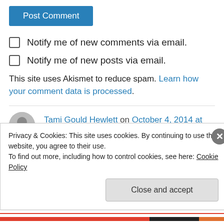Post Comment
Notify me of new comments via email.
Notify me of new posts via email.
This site uses Akismet to reduce spam. Learn how your comment data is processed.
Tami Gould Hewlett on October 4, 2014 at 11:07 am
Privacy & Cookies: This site uses cookies. By continuing to use this website, you agree to their use.
To find out more, including how to control cookies, see here: Cookie Policy
Close and accept